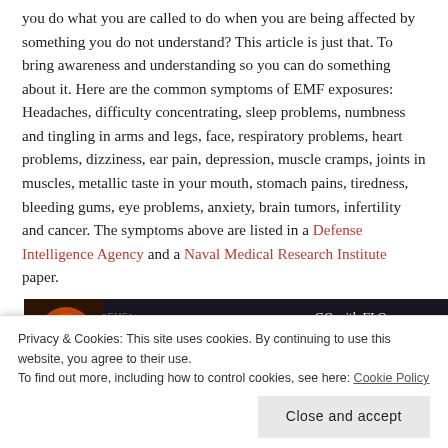you do what you are called to do when you are being affected by something you do not understand? This article is just that. To bring awareness and understanding so you can do something about it. Here are the common symptoms of EMF exposures: Headaches, difficulty concentrating, sleep problems, numbness and tingling in arms and legs, face, respiratory problems, heart problems, dizziness, ear pain, depression, muscle cramps, joints in muscles, metallic taste in your mouth, stomach pains, tiredness, bleeding gums, eye problems, anxiety, brain tumors, infertility and cancer. The symptoms above are listed in a Defense Intelligence Agency and a Naval Medical Research Institute paper.
[Figure (photo): Dark banner image with orange sun/moon silhouette on left, waveform graphics, and text overlay reading about EMF and sleep quality. 'GO with FLO © 2016 [A Friends I' branding on right.]
Privacy & Cookies: This site uses cookies. By continuing to use this website, you agree to their use. To find out more, including how to control cookies, see here: Cookie Policy
Close and accept